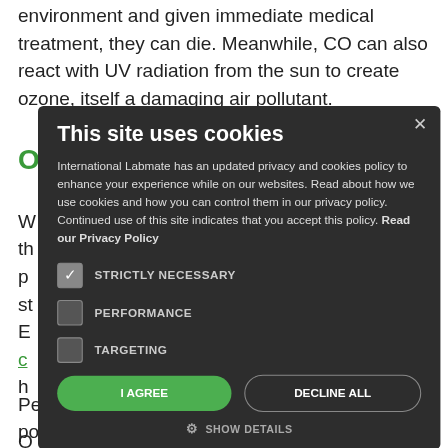environment and given immediate medical treatment, they can die. Meanwhile, CO can also react with UV radiation from the sun to create ozone, itself a damaging air pollutant.
W... immediately the... our planet and p... ys. This is s... al to life on E... d, is a damaging c... harmful to h...
This site uses cookies

International Labmate has an updated privacy and cookies policy to enhance your experience while on our websites. Read about how we use cookies and how you can control them in our privacy policy. Continued use of this site indicates that you accept this policy. Read our Privacy Policy

STRICTLY NECESSARY
PERFORMANCE
TARGETING

I AGREE   DECLINE ALL

SHOW DETAILS
O... minants in the a... le organic c... generates p... ne atmosphere, i... ealth of those w... eeded to create o... mmertime.
People who are exposed to high levels of ozone pollution